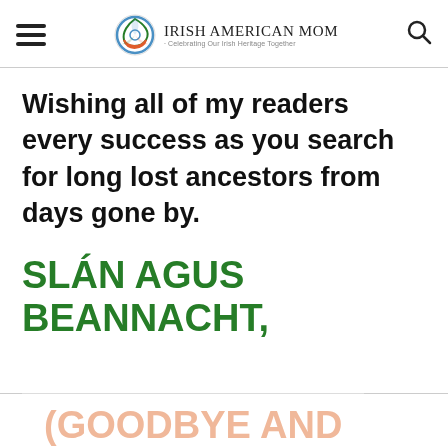Irish American Mom - Celebrating Our Irish Heritage Together
Wishing all of my readers every success as you search for long lost ancestors from days gone by.
SLÁN AGUS BEANNACHT,
(GOODBYE AND